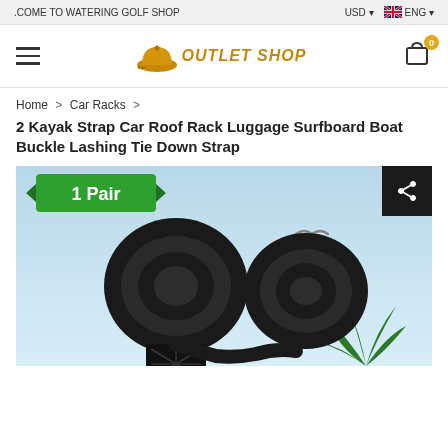.COME TO WATERING GOLF SHOP   USD ▾   🇬🇧 ENG ▾
[Figure (logo): Golf hat logo with text OUTLET SHOP in gold italic font]
Home > Car Racks >
2 Kayak Strap Car Roof Rack Luggage Surfboard Boat Buckle Lashing Tie Down Strap
[Figure (photo): Product photo showing two black rolled kayak tie-down straps with buckles on a light blue sky background with palm leaf, labeled '1 Pair' in green ribbon badge]